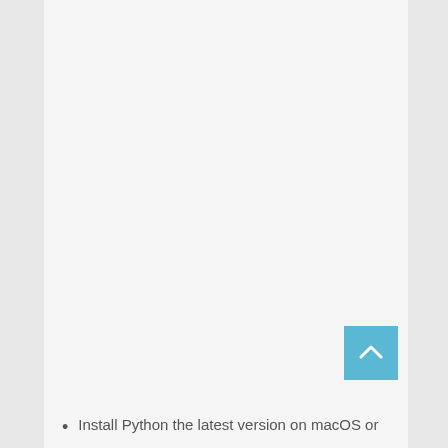[Figure (other): Scroll-to-top button: a blue square with a white upward-pointing chevron arrow]
Install Python the latest version on macOS or